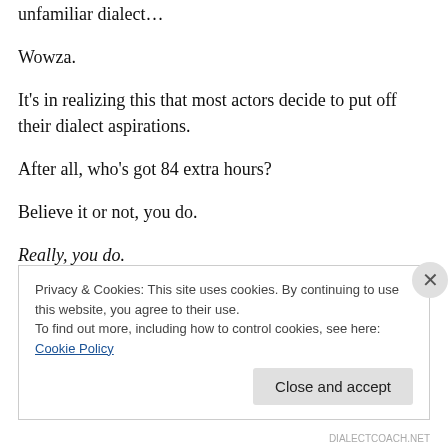unfamiliar dialect…
Wowza.
It's in realizing this that most actors decide to put off their dialect aspirations.
After all, who's got 84 extra hours?
Believe it or not, you do.
Really, you do.
Privacy & Cookies: This site uses cookies. By continuing to use this website, you agree to their use.
To find out more, including how to control cookies, see here: Cookie Policy
Close and accept
DIALECTCOACH.NET